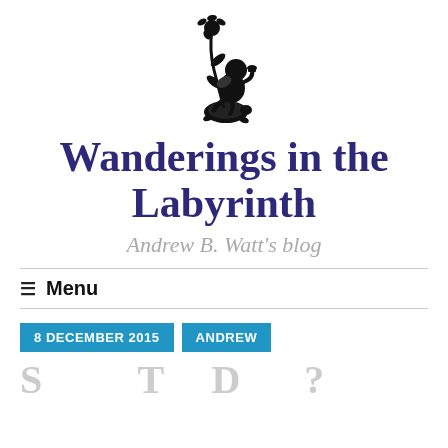[Figure (logo): Black silhouette of a cherub/putto figure riding or seated on a turtle, holding a sunflower plant, used as blog logo for Wanderings in the Labyrinth]
Wanderings in the Labyrinth
Andrew B. Watt's blog
Menu
8 DECEMBER 2015
ANDREW